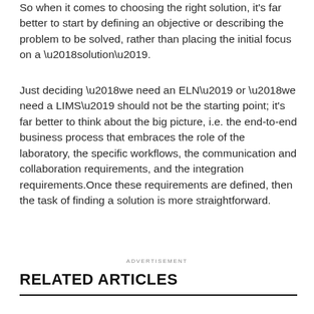So when it comes to choosing the right solution, it's far better to start by defining an objective or describing the problem to be solved, rather than placing the initial focus on a ‘solution’.
Just deciding ‘we need an ELN’ or ‘we need a LIMS’ should not be the starting point; it’s far better to think about the big picture, i.e. the end-to-end business process that embraces the role of the laboratory, the specific workflows, the communication and collaboration requirements, and the integration requirements.Once these requirements are defined, then the task of finding a solution is more straightforward.
ADVERTISEMENT
RELATED ARTICLES